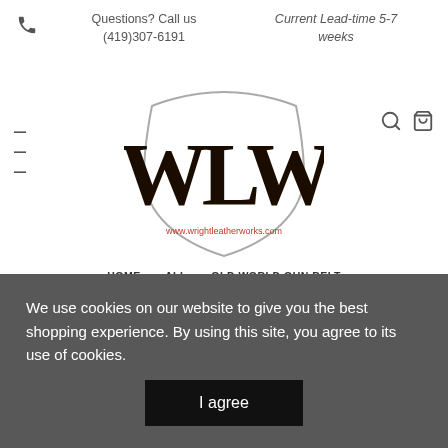Questions? Call us (419)307-6191   Current Lead-time 5-7 weeks
[Figure (logo): Wright Leather Works logo — stylized WLW monogram inside a leather hide shield outline, with website www.wrightleatherworks.com]
HOME → ALL → OLD WORLD GUN BELT
We use cookies on our website to give you the best shopping experience. By using this site, you agree to its use of cookies.
I agree